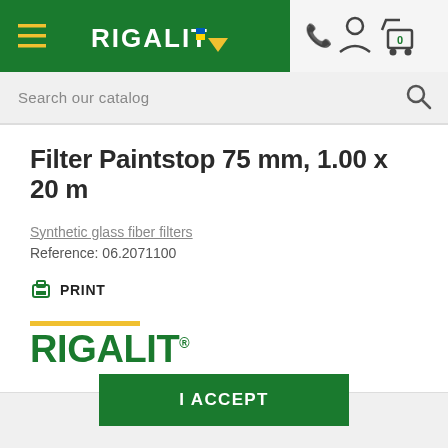[Figure (logo): Rigalit website header navigation bar with hamburger menu, Rigalit logo with yellow arrow and blue/yellow flag, phone icon, user icon, and cart icon with 0]
Search our catalog
Filter Paintstop 75 mm, 1.00 x 20 m
Synthetic glass fiber filters
Reference: 06.2071100
PRINT
[Figure (logo): Rigalit brand logo with yellow bar above green bold RIGALIT text with registered trademark symbol]
READ MORE
I ACCEPT